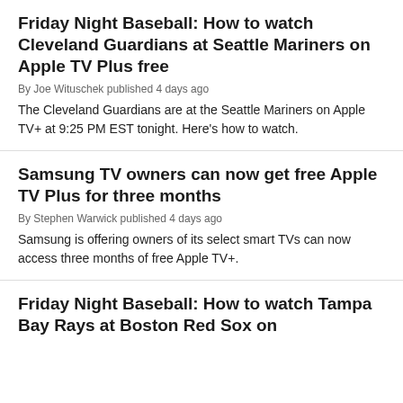Friday Night Baseball: How to watch Cleveland Guardians at Seattle Mariners on Apple TV Plus free
By Joe Wituschek published 4 days ago
The Cleveland Guardians are at the Seattle Mariners on Apple TV+ at 9:25 PM EST tonight. Here's how to watch.
Samsung TV owners can now get free Apple TV Plus for three months
By Stephen Warwick published 4 days ago
Samsung is offering owners of its select smart TVs can now access three months of free Apple TV+.
Friday Night Baseball: How to watch Tampa Bay Rays at Boston Red Sox on